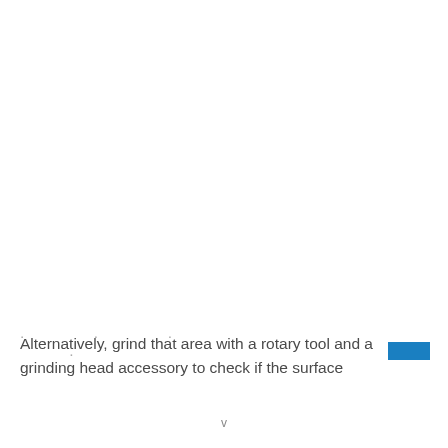Alternatively, grind that area with a rotary tool and a grinding head accessory to check if the surface ...
v